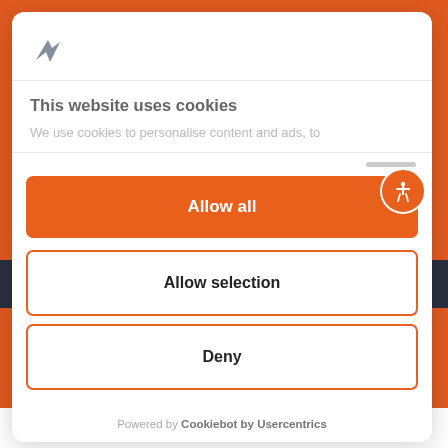[Figure (logo): Gray bird/arrow logo icon in top-left of cookie consent modal]
This website uses cookies
We use cookies to personalise content and ads, to
Allow all
Allow selection
Deny
Powered by Cookiebot by Usercentrics
devices.